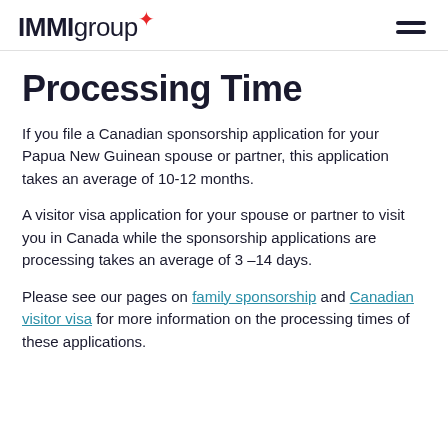IMMIgroup
Processing Time
If you file a Canadian sponsorship application for your Papua New Guinean spouse or partner, this application takes an average of 10-12 months.
A visitor visa application for your spouse or partner to visit you in Canada while the sponsorship applications are processing takes an average of 3 –14 days.
Please see our pages on family sponsorship and Canadian visitor visa for more information on the processing times of these applications.